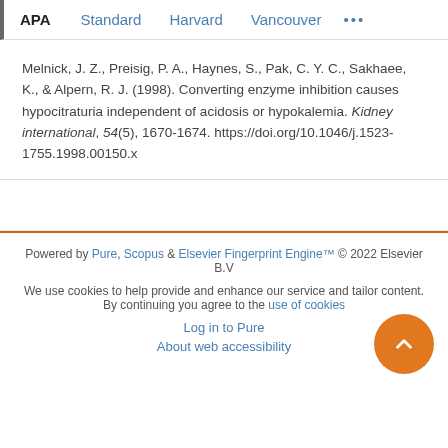APA | Standard | Harvard | Vancouver | ...
Melnick, J. Z., Preisig, P. A., Haynes, S., Pak, C. Y. C., Sakhaee, K., & Alpern, R. J. (1998). Converting enzyme inhibition causes hypocitraturia independent of acidosis or hypokalemia. Kidney international, 54(5), 1670-1674. https://doi.org/10.1046/j.1523-1755.1998.00150.x
Powered by Pure, Scopus & Elsevier Fingerprint Engine™ © 2022 Elsevier B.V
We use cookies to help provide and enhance our service and tailor content. By continuing you agree to the use of cookies
Log in to Pure
About web accessibility